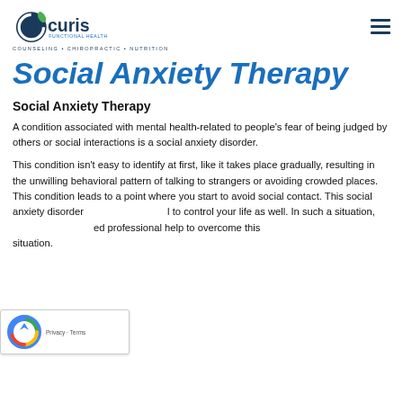Curis Functional Health — COUNSELING • CHIROPRACTIC • NUTRITION
Social Anxiety Therapy
Social Anxiety Therapy
A condition associated with mental health-related to people's fear of being judged by others or social interactions is a social anxiety disorder.
This condition isn't easy to identify at first, like it takes place gradually, resulting in the unwilling behavioral pattern of talking to strangers or avoiding crowded places. This condition leads to a point where you start to avoid social contact. This social anxiety disorder [can begin] to control your life as well. In such a situation, [you] need professional help to overcome this situation.